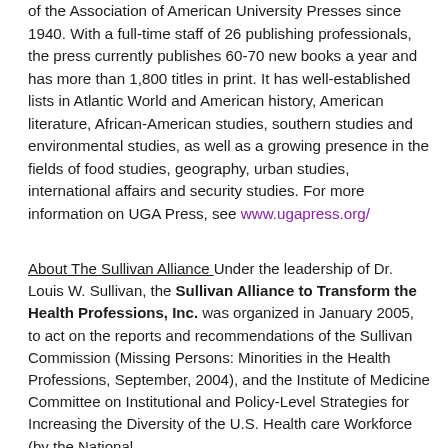of the Association of American University Presses since 1940. With a full-time staff of 26 publishing professionals, the press currently publishes 60-70 new books a year and has more than 1,800 titles in print. It has well-established lists in Atlantic World and American history, American literature, African-American studies, southern studies and environmental studies, as well as a growing presence in the fields of food studies, geography, urban studies, international affairs and security studies. For more information on UGA Press, see www.ugapress.org/
About The Sullivan Alliance Under the leadership of Dr. Louis W. Sullivan, the Sullivan Alliance to Transform the Health Professions, Inc. was organized in January 2005, to act on the reports and recommendations of the Sullivan Commission (Missing Persons: Minorities in the Health Professions, September, 2004), and the Institute of Medicine Committee on Institutional and Policy-Level Strategies for Increasing the Diversity of the U.S. Health care Workforce (by the National...